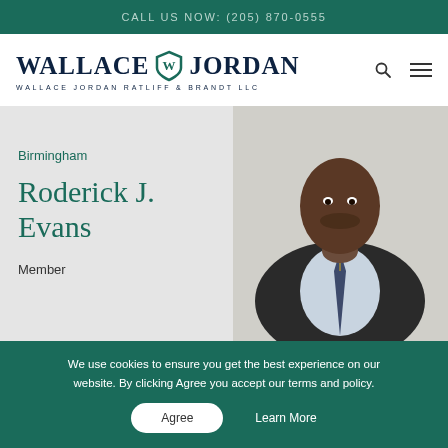CALL US NOW: (205) 870-0555
[Figure (logo): Wallace Jordan Ratliff & Brandt LLC law firm logo with shield icon]
Birmingham
Roderick J. Evans
Member
[Figure (photo): Professional headshot of Roderick J. Evans, a man in a dark suit with a striped tie, smiling]
We use cookies to ensure you get the best experience on our website. By clicking Agree you accept our terms and policy.